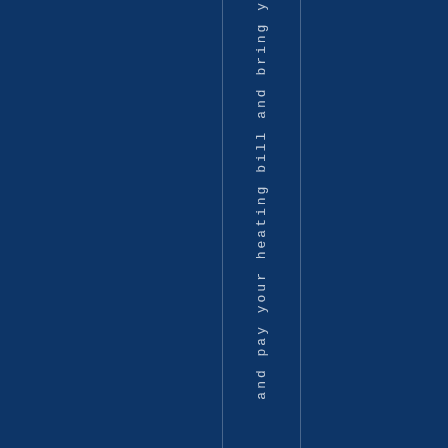and pay your heating bill and bring y